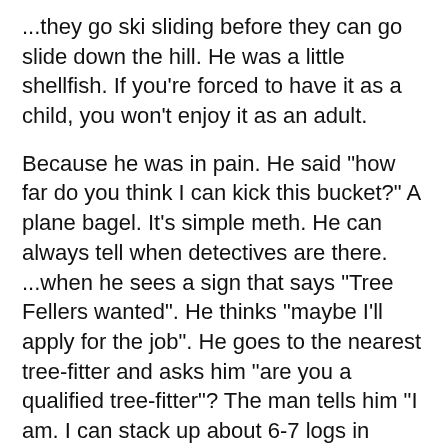...they go ski sliding before they can go slide down the hill. He was a little shellfish. If you're forced to have it as a child, you won't enjoy it as an adult.
Because he was in pain. He said "how far do you think I can kick this bucket?" A plane bagel. It's simple meth. He can always tell when detectives are there. ...when he sees a sign that says "Tree Fellers wanted". He thinks "maybe I'll apply for the job". He goes to the nearest tree-fitter and asks him "are you a qualified tree-fitter"? The man tells him "I am. I can stack up about 6-7 logs in about 10 seconds". The tree-fitter says "I'll take you under his wing and see how you stack up". The man arrives at the site and the tree-fitter asks "did you kill this man?". The man says "no, I killed the poor bastard under his tree". Teach a man how to grow tomatoes, he will destroy your garden. ...but he's got 2020.
They would have some very nice pictures of their children on the wall. Because about the pictures of...